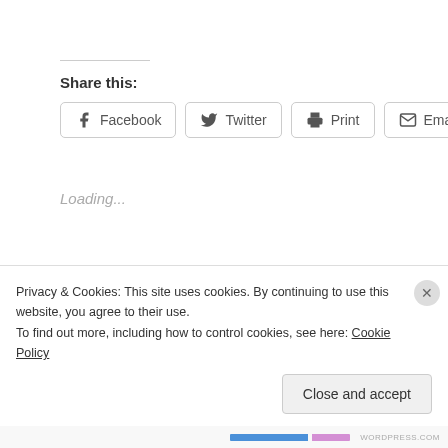Share this:
[Figure (screenshot): Social sharing buttons: Facebook, Twitter, Print, Email]
Loading...
EPIGRAPH
Privacy & Cookies: This site uses cookies. By continuing to use this website, you agree to their use.
To find out more, including how to control cookies, see here: Cookie Policy
Close and accept